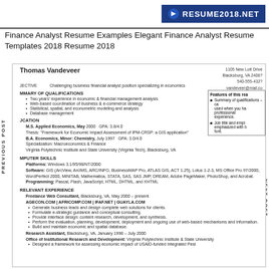[Figure (logo): RESUME2018.NET logo with blue icon on dark blue background]
Finance Analyst Resume Examples Elegant Finance Analyst Resume Templates 2018 Resume 2018
PREVIOUS POST
NEXT POST
Thomas Vandeveer
1105 New Lott Drive
Blacksburg, VA 2406?
540-555-432?
vandeveer@mail.co
OBJECTIVE   Challenging business financial analyst position specializing in economics
SUMMARY OF QUALIFICATIONS
Two years' experience in economic & financial management analysis
Web-based coordination of business & e-commerce strategy
Statistical, spatial, and econometric modeling and analysis
Database management
EDUCATION
M.S. Applied Economics, May 2000   GPA: 3.8/4.0
Thesis: "Framework for Economic Impact Assessment of IPM-CRSP: a GIS application"
B.A. Economics, Minor: Chemistry, July 1997   GPA: 3.0/4.0
Specialization: Macroeconomics & Finance
Virginia Polytechnic Institute and State University (Virginia Tech), Blacksburg, VA
COMPUTER SKILLS
Platforms: Windows 3.1/95/98/NT/2000
Software: GIS (ArcView, ArcIMS, ARC/INFO, BusinessMAP Pro, ATLAS GIS, ACT 1.25), Lotus 1-2-3, MS Office Pro 97/2000, WordPerfect 2000, MINITAB, Mathematica, STATA, SAS, SAS JMP, DREAM, Adobe PageMaker, PhotoShop, and Acrobat.
Programming: Pascal, Flash, JavaScript, HTML, DHTML, and XHTML
RELEVANT EXPERIENCE
Freelance Web Consultant, Blacksburg, VA, May 2000 – present
AGECON.COM | AFRICOMP.COM | IFAF.NET | GUAYLA.COM
Generate business leads and design complete web solutions for clients.
Formulate e-strategic guidance and conceptual consulting.
Provide interface design: content research, development, and synthesis.
Perform the evaluation, planning, development, deployment and ongoing use of web-based mechanisms and information.
Build and maintain economic and spatial database.
Research Assistant, Blacksburg, VA, January 1998 – July 2000
Office of Institutional Research and Development: Virginia Polytechnic Institute & State University
Designed a framework for assessing economic impact of USAID-funded Integrated Pest
[Figure (other): Features sidebar box with bullet points about resume features: Summary of qualifications and Job title emphasis]